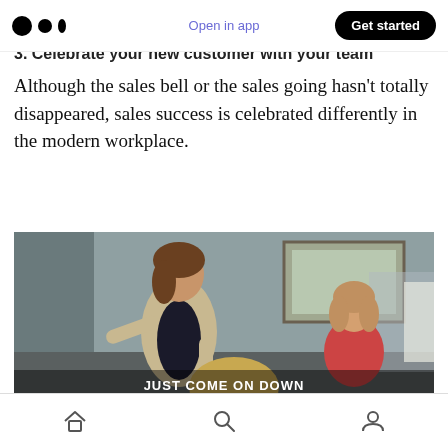Open in app | Get started
3. Celebrate your new customer with your team
Although the sales bell or the sales going hasn't totally disappeared, sales success is celebrated differently in the modern workplace.
[Figure (photo): A woman in a blazer gesturing energetically in an office setting, with a colleague seated behind her. Subtitle text reads: JUST COME ON DOWN / AND RING THE FROSTWELL BELL]
Home | Search | Profile